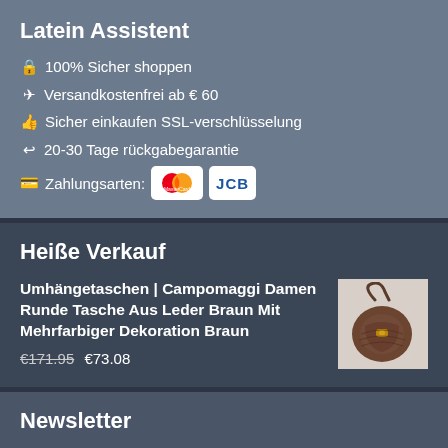Latein Assistent
🔒 100% Sicher shoppen
✈ Versandkostenfrei ab € 60
👍 Sicher einkaufen SSL-verschlüsselung
↩ 20-30 Tage rückgabegarantie
💳 Zahlungsarten: MasterCard JCB
Heiße Verkauf
Umhängetaschen | Campomaggi Damen Runde Tasche Aus Leder Braun Mit Mehrfarbiger Dekoration Braun €171.95 €73.08
[Figure (photo): Product image of a brown leather Campomaggi round handbag]
Newsletter